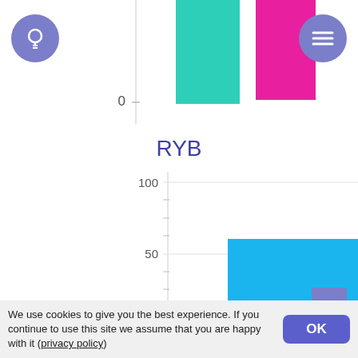[Figure (bar-chart): Bar chart titled RYB showing a cyan/blue bar at approximately 60 on a 0-100 scale. Top of page shows partial teal/green and magenta/pink bars and a gray bar cropped. Y-axis shows 0, 50, 100.]
We use cookies to give you the best experience. If you continue to use this site we assume that you are happy with it (privacy policy)